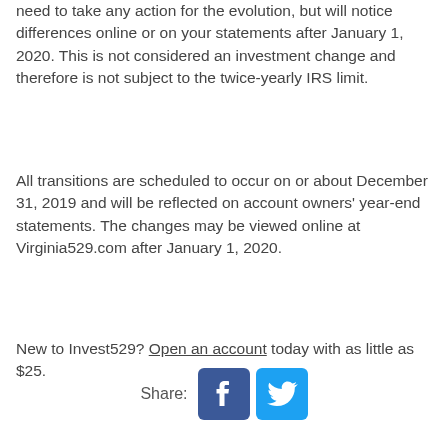need to take any action for the evolution, but will notice differences online or on your statements after January 1, 2020. This is not considered an investment change and therefore is not subject to the twice-yearly IRS limit.
All transitions are scheduled to occur on or about December 31, 2019 and will be reflected on account owners' year-end statements. The changes may be viewed online at Virginia529.com after January 1, 2020.
New to Invest529? Open an account today with as little as $25.
[Figure (infographic): Share row with Facebook and Twitter icon buttons]